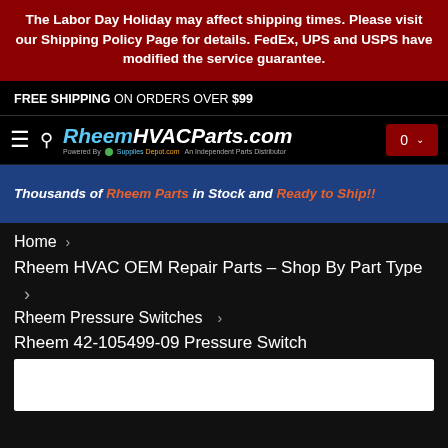The Labor Day Holiday may affect shipping times. Please visit our Shipping Policy Page for details. FedEx, UPS and USPS have modified the service guarantee.
FREE SHIPPING ON ORDERS OVER $99
[Figure (logo): RheemHVACParts.com logo with hamburger menu, search icon, and cart button showing 0 items]
[Figure (infographic): Promotional banner: Thousands of Rheem Parts in Stock and Ready to Ship!!]
Home >
Rheem HVAC OEM Repair Parts - Shop By Part Type
>
Rheem Pressure Switches >
Rheem 42-105499-09 Pressure Switch